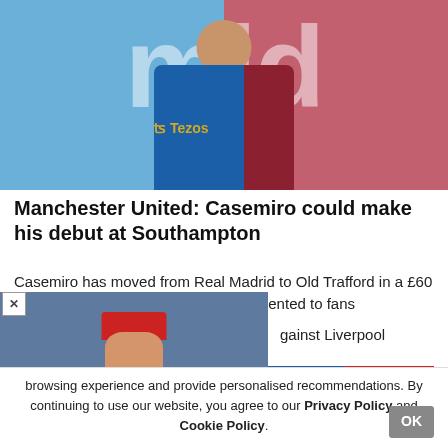[Figure (photo): Hero image showing a footballer in a split Manchester United / Real Madrid shirt composite with large white letters 'm i d' overlaid, Tezos sponsor visible on shirt]
Manchester United: Casemiro could make his debut at Southampton
Casemiro has moved from Real Madrid to Old Trafford in a £60 million ($71 million) deal and was presented to fans against Liverpool
[Figure (photo): Popup overlay showing a politician in a red cap and dark vest gesturing at a podium]
...milar technologies, to enhance your browsing experience and provide personalised recommendations. By continuing to use our website, you agree to our Privacy Policy and Cookie Policy.